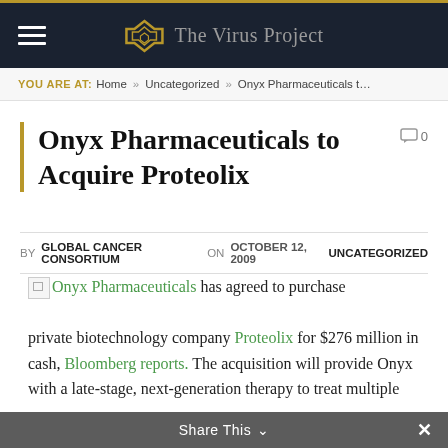The Virus Project
YOU ARE AT: Home » Uncategorized » Onyx Pharmaceuticals t…
Onyx Pharmaceuticals to Acquire Proteolix
BY GLOBAL CANCER CONSORTIUM ON OCTOBER 12, 2009  UNCATEGORIZED
Onyx Pharmaceuticals has agreed to purchase private biotechnology company Proteolix for $276 million in cash, Bloomberg reports. The acquisition will provide Onyx with a late-stage, next-generation therapy to treat multiple